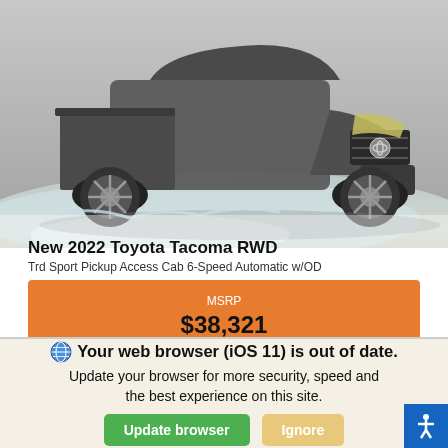[Figure (photo): Photo of a 2022 Toyota Tacoma RWD truck driving through rocky/snowy terrain, front 3/4 view, dark gray color]
New 2022 Toyota Tacoma RWD
Trd Sport Pickup Access Cab 6-Speed Automatic w/OD
MSRP
$38,321
*First Name
*Last Name
🌐 Your web browser (iOS 11) is out of date. Update your browser for more security, speed and the best experience on this site.
Update browser
Ignore